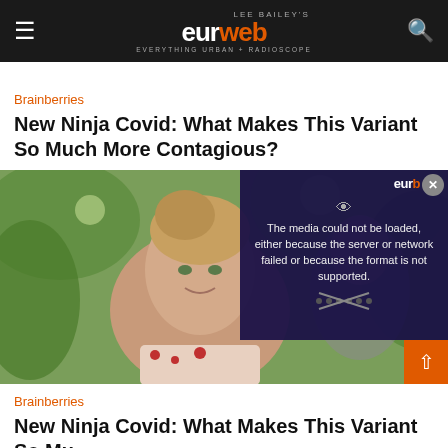Lee Bailey's eurweb — Everything Urban + Radioscope
Brainberries
New Ninja Covid: What Makes This Variant So Much More Contagious?
[Figure (photo): Young girl with updo hairstyle smiling outdoors with green foliage in background, with a video player overlay showing error message: The media could not be loaded, either because the server or network failed or because the format is not supported.]
Brainberries